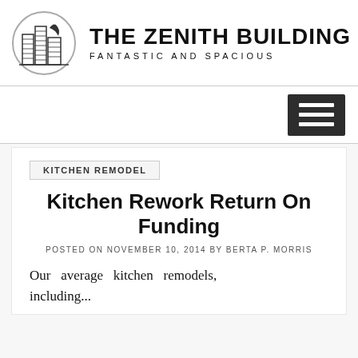[Figure (logo): The Zenith Building logo: circular emblem with stylized building/skyscraper illustration and moon, next to large bold text 'THE ZENITH BUILDING' with subtitle 'FANTASTIC AND SPACIOUS']
[Figure (other): Hamburger menu button (three horizontal white bars on dark background)]
KITCHEN REMODEL
Kitchen Rework Return On Funding
POSTED ON NOVEMBER 10, 2014 BY BERTA P. MORRIS
Our average kitchen remodels, including...